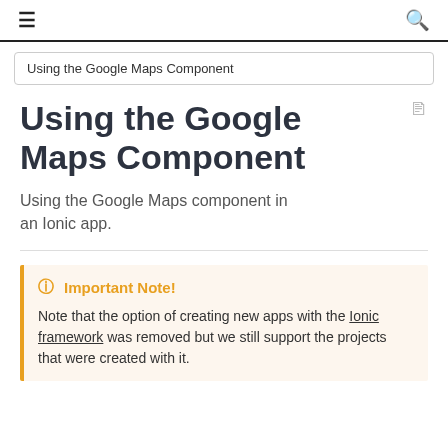≡  🔍
Using the Google Maps Component
Using the Google Maps Component
Using the Google Maps component in an Ionic app.
Important Note!
Note that the option of creating new apps with the Ionic framework was removed but we still support the projects that were created with it.